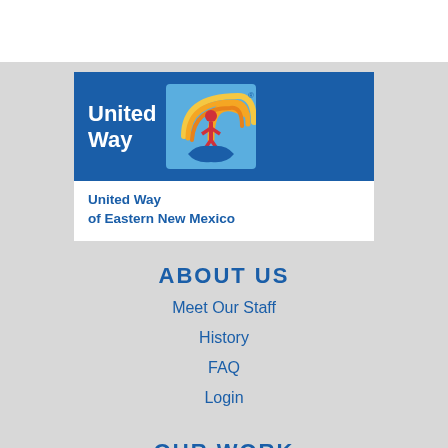[Figure (logo): United Way of Eastern New Mexico logo — blue rectangle with white 'United Way' text on left, circular orange/yellow rainbow arc with red figure and blue hands icon on right. Below: 'United Way of Eastern New Mexico' in blue bold text on white background.]
ABOUT US
Meet Our Staff
History
FAQ
Login
OUR WORK
211 Info Helpline
Imagination Library
Successful You